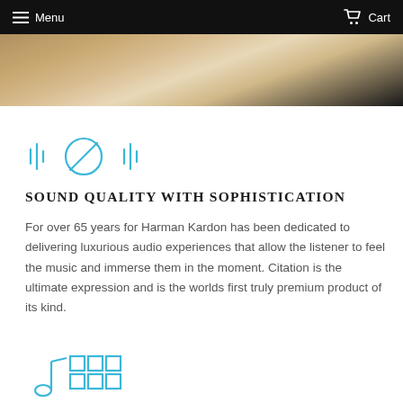Menu   Cart
[Figure (photo): Partial view of a room with a table and speaker, warm tones]
[Figure (illustration): Harman Kardon sound quality icon: waveform lines flanking a circle with a diagonal line (mute/audio symbol), in cyan/blue]
SOUND QUALITY WITH SOPHISTICATION
For over 65 years for Harman Kardon has been dedicated to delivering luxurious audio experiences that allow the listener to feel the music and immerse them in the moment. Citation is the ultimate expression and is the worlds first truly premium product of its kind.
[Figure (illustration): Harman Kardon multiroom icon: musical note with grid/rooms symbol, in cyan/blue]